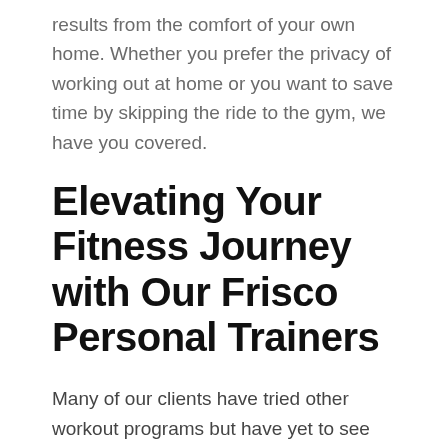results from the comfort of your own home. Whether you prefer the privacy of working out at home or you want to save time by skipping the ride to the gym, we have you covered.
Elevating Your Fitness Journey with Our Frisco Personal Trainers
Many of our clients have tried other workout programs but have yet to see the lasting results they desire. Or, they've hit a plateau and need help breaking past it. No matter your reason for seeking out personal trainers, Frisco's Mobile